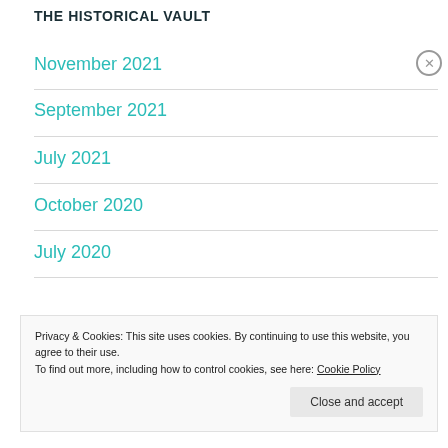THE HISTORICAL VAULT
November 2021
September 2021
July 2021
October 2020
July 2020
Privacy & Cookies: This site uses cookies. By continuing to use this website, you agree to their use.
To find out more, including how to control cookies, see here: Cookie Policy
Close and accept